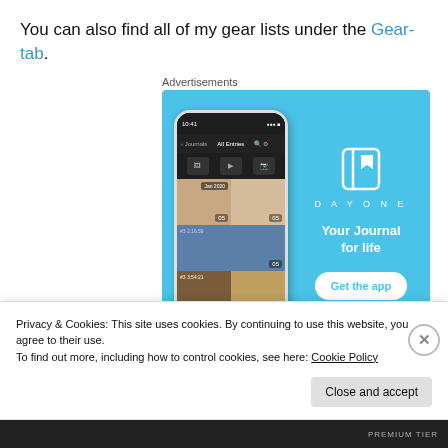You can also find all of my gear lists under the Gear-tab.
Advertisements
[Figure (screenshot): Day One app advertisement on a light blue background showing a phone mockup with journal entries grid and the Day One branding with tagline 'Your Journal for life' and a 'Get the app' button.]
Privacy & Cookies: This site uses cookies. By continuing to use this website, you agree to their use.
To find out more, including how to control cookies, see here: Cookie Policy
Close and accept